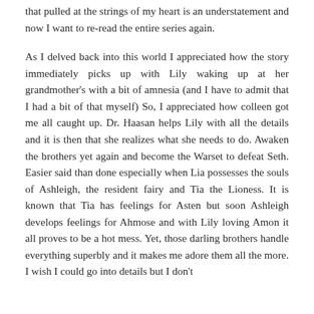that pulled at the strings of my heart is an understatement and now I want to re-read the entire series again.
As I delved back into this world I appreciated how the story immediately picks up with Lily waking up at her grandmother's with a bit of amnesia (and I have to admit that I had a bit of that myself) So, I appreciated how colleen got me all caught up. Dr. Haasan helps Lily with all the details and it is then that she realizes what she needs to do. Awaken the brothers yet again and become the Warset to defeat Seth. Easier said than done especially when Lia possesses the souls of Ashleigh, the resident fairy and Tia the Lioness. It is known that Tia has feelings for Asten but soon Ashleigh develops feelings for Ahmose and with Lily loving Amon it all proves to be a hot mess. Yet, those darling brothers handle everything superbly and it makes me adore them all the more. I wish I could go into details but I don't